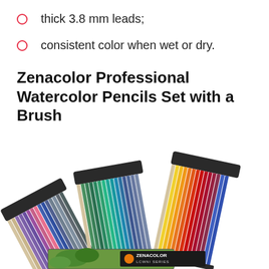thick 3.8 mm leads;
consistent color when wet or dry.
Zenacolor Professional Watercolor Pencils Set with a Brush
[Figure (photo): Three open metal tins of Zenacolor colored watercolor pencils fanned out showing pencils in various colors including purples, blues, greens, teals, oranges, reds, and yellows. Bottom shows a partial view of a Zenacolor LCWNI Series tin with a bird illustration.]